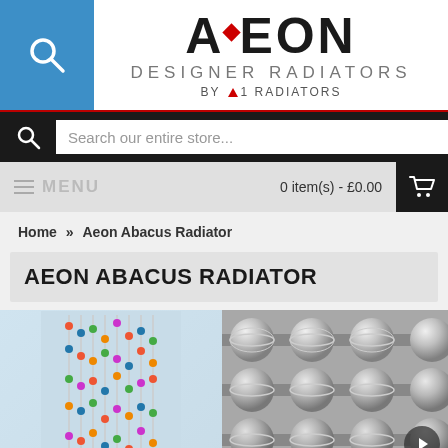[Figure (logo): AEON Designer Radiators by A1 Radiators logo with red diamond accent on A]
Search our entire store...
MENU   0 item(s) - £0.00
Home » Aeon Abacus Radiator
AEON ABACUS RADIATOR
[Figure (photo): Two photos of the Aeon Abacus Radiator: left shows full radiator with colorful beads on metal rails against light blue background; right shows close-up of chrome/stainless steel beaded rails]